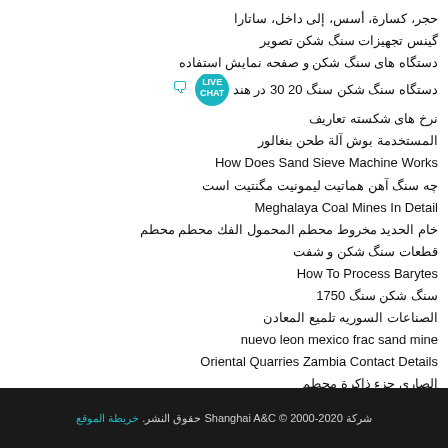حجر، کسارة، أسس، إلى داخل، ساتارا
گینس تجهیزات سنگ شکن تصویر
دستگاه های سنگ شکن و صفحه نمایش استفاده
دستگاه سنگ شکن سنگ 20 30 در هند [LIVE CHAT]
نرخ های شکسته تعاریف
المستخدمة بوش آلة طحن بنغالور
How Does Sand Sieve Machine Works
چه سنگ آهن هماتیت لیمونیت مگنتیت است
Meghalaya Coal Mines In Detail
خام الحديد مخروط محطم المحمول الفك محطم محطم
قطعات سنگ شکن و شفت
How To Process Barytes
سنگ شکن سنگ 1750
الصناعات السوريه تلميع المعادن
nuevo leon mexico frac sand mine
Oriental Quarries Zambia Contact Details
الصاري جزء ذاكرة محطم
b سلسلة العميق الدوار الراسي رمح تأثير محطم السعر
شرکة Shanghai A&C © 2000-2020 حقوق النشر. خريطة الموقع